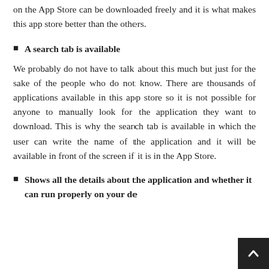on the App Store can be downloaded freely and it is what makes this app store better than the others.
A search tab is available
We probably do not have to talk about this much but just for the sake of the people who do not know. There are thousands of applications available in this app store so it is not possible for anyone to manually look for the application they want to download. This is why the search tab is available in which the user can write the name of the application and it will be available in front of the screen if it is in the App Store.
Shows all the details about the application and whether it can run properly on your de...